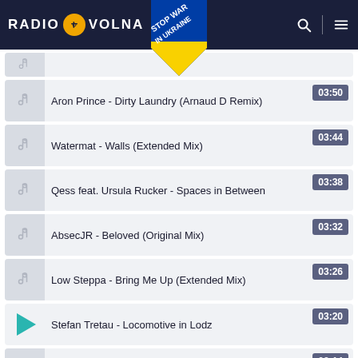[Figure (screenshot): Radio Volna website header with logo and navigation icons, plus Stop War in Ukraine badge]
Aron Prince - Dirty Laundry (Arnaud D Remix) 03:50
Watermat - Walls (Extended Mix) 03:44
Qess feat. Ursula Rucker - Spaces in Between 03:38
AbsecJR - Beloved (Original Mix) 03:32
Low Steppa - Bring Me Up (Extended Mix) 03:26
Stefan Tretau - Locomotive in Lodz 03:20
Deepear - In The Pool (Original Mix) 03:14